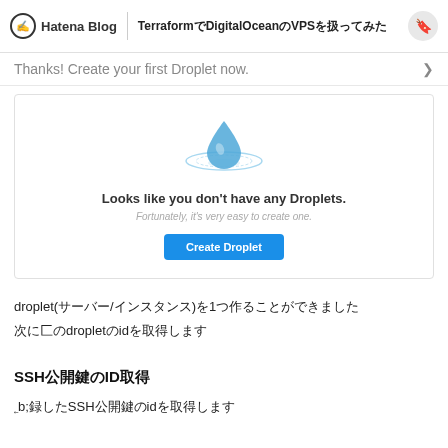Hatena Blog | TerraformでDigitalOceanのVPSを扱ってみた
Thanks! Create your first Droplet now.
[Figure (illustration): DigitalOcean Droplets empty state illustration with a water drop icon and orbit rings, text: Looks like you don't have any Droplets. Fortunately, it's very easy to create one. Create Droplet button.]
droplet(サーバー/インスタンス)を1つ作ることができました
次にこのdropletのidを取得します
SSH公開鍵のID取得
登録したSSH公開鍵のidを取得します